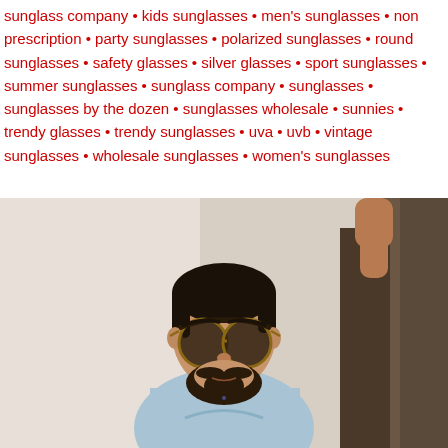sunglass company • kids sunglasses • men's sunglasses • non prescription • party sunglasses • polarized sunglasses • round sunglasses • safety glasses • silver glasses • sport sunglasses • summer sunglasses • sunglass company • sunglasses • sunglasses by the dozen • sunglasses wholesale • sunnies • trendy glasses • trendy sunglasses • uva • uvb • vintage sunglasses • wholesale sunglasses • women's sunglasses
[Figure (photo): Young man with beard wearing classic round sunglasses, dressed in a light blue shirt, standing against a light background with a dark wooden post/column visible on the right side.]